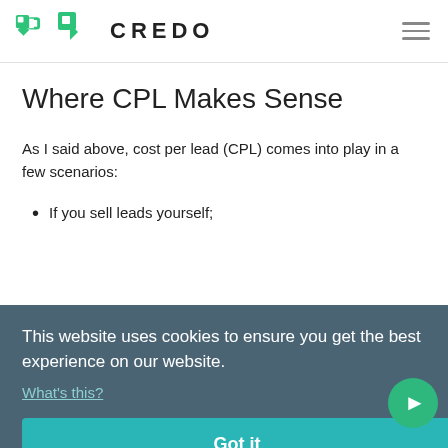[Figure (logo): Credo logo with green icon and text CREDO]
Where CPL Makes Sense
As I said above, cost per lead (CPL) comes into play in a few scenarios:
If you sell leads yourself;
you
ntial
" for
This website uses cookies to ensure you get the best experience on our website.
What's this?
Got it